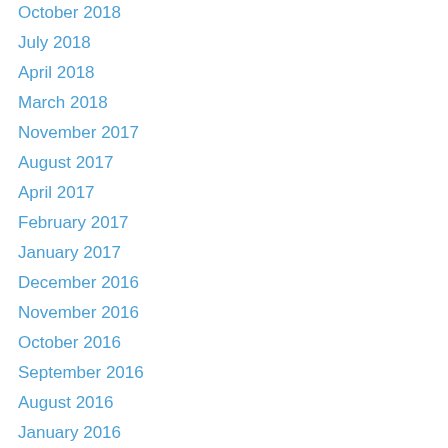October 2018
July 2018
April 2018
March 2018
November 2017
August 2017
April 2017
February 2017
January 2017
December 2016
November 2016
October 2016
September 2016
August 2016
January 2016
October 2015
September 2015
March 2015
February 2015
January 2015